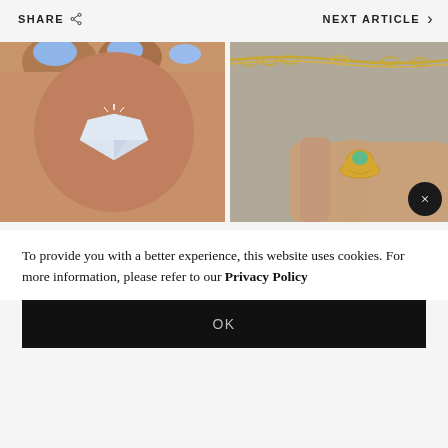SHARE
NEXT ARTICLE
[Figure (photo): Close-up of a hand with blue nail polish holding a large round brilliant-cut diamond]
[Figure (photo): Close-up of a person wearing a gold chain necklace and a gold ring with a green stone, hands visible]
To provide you with a better experience, this website uses cookies. For more information, please refer to our Privacy Policy
OK